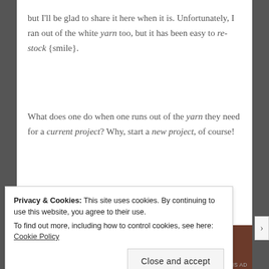but I'll be glad to share it here when it is. Unfortunately, I ran out of the white yarn too, but it has been easy to re-stock {smile}.
What does one do when one runs out of the yarn they need for a current project? Why, start a new project, of course!
[Figure (photo): A brown/dark reddish-brown wooden or fabric surface, partially visible at the bottom of the page]
Privacy & Cookies: This site uses cookies. By continuing to use this website, you agree to their use.
To find out more, including how to control cookies, see here: Cookie Policy